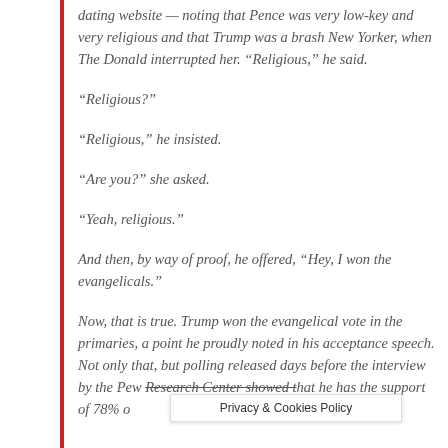dating website — noting that Pence was very low-key and very religious and that Trump was a brash New Yorker, when The Donald interrupted her. “Religious,” he said.
“Religious?”
“Religious,” he insisted.
“Are you?” she asked.
“Yeah, religious.”
And then, by way of proof, he offered, “Hey, I won the evangelicals.”
Now, that is true. Trump won the evangelical vote in the primaries, a point he proudly noted in his acceptance speech. Not only that, but polling released days before the interview by the Pew Research Center showed that he has the support of 78% o… nationwide.
Privacy & Cookies Policy